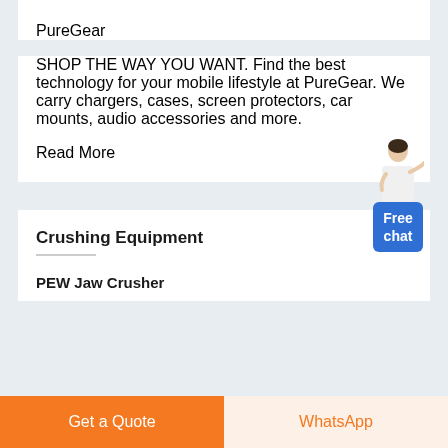PureGear
SHOP THE WAY YOU WANT. Find the best technology for your mobile lifestyle at PureGear. We carry chargers, cases, screen protectors, car mounts, audio accessories and more.
Read More
[Figure (illustration): Customer service representative figure with blue 'Free chat' button widget]
Crushing Equipment
PEW Jaw Crusher
Get a Quote
WhatsApp